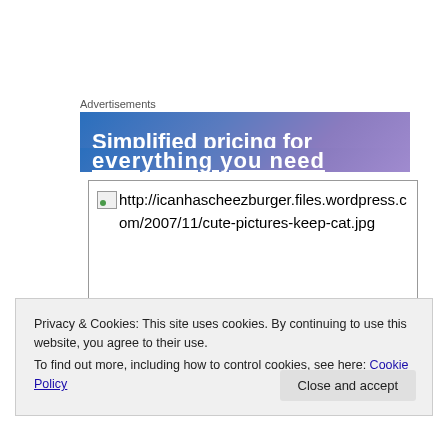Advertisements
[Figure (photo): Advertisement banner with blue-purple gradient background showing text 'Simplified pricing for' and partially visible next line]
[Figure (photo): Broken image placeholder showing URL: http://icanhascheezburger.files.wordpress.com/2007/11/cute-pictures-keep-cat.jpg]
Privacy & Cookies: This site uses cookies. By continuing to use this website, you agree to their use.
To find out more, including how to control cookies, see here: Cookie Policy
Close and accept